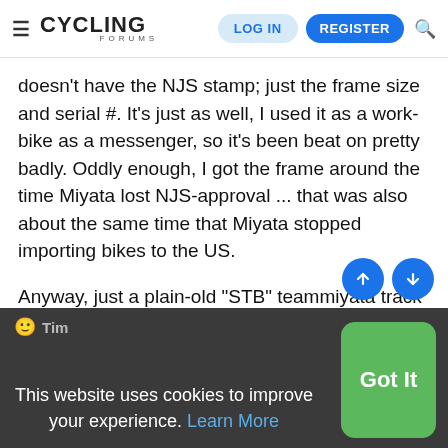Cycling Forums — LOG IN | REGISTER
doesn't have the NJS stamp; just the frame size and serial #. It's just as well, I used it as a work-bike as a messenger, so it's been beat on pretty badly. Oddly enough, I got the frame around the time Miyata lost NJS-approval ... that was also about the same time that Miyata stopped importing bikes to the US.
Anyway, just a plain-old "STB" teammiyata track frame, I enjoy it.
Thanks again!
Tim
This website uses cookies to improve your experience. Learn More